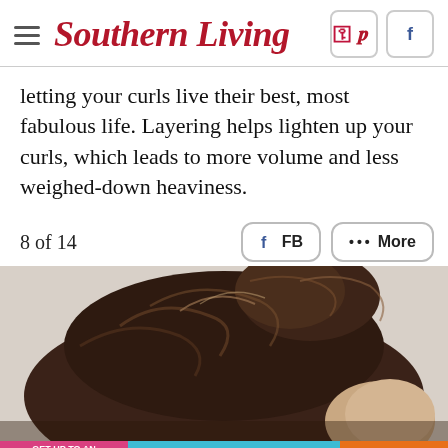Southern Living
letting your curls live their best, most fabulous life. Layering helps lighten up your curls, which leads to more volume and less weighed-down heaviness.
8 of 14
[Figure (screenshot): Share buttons: FB (Facebook) and More (...)]
[Figure (photo): Close-up photo of a woman with curly/wavy dark brown hair styled in an updo against a light gray background]
[Figure (infographic): Advertisement banner: GET UP TO AN EXTRA 50% OFF | END OF SUMMER SALE-A-THON | SHOP NOW]